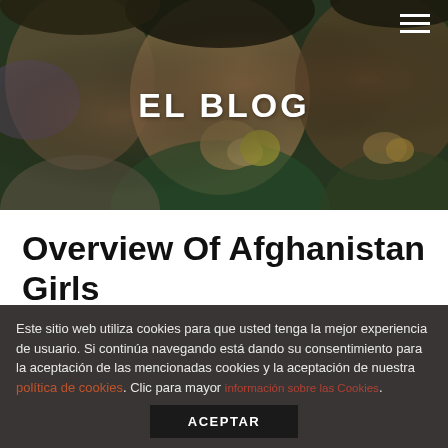[Figure (photo): Background photo of girls eating fruit, used as hero banner for a blog page titled EL BLOG]
EL BLOG
Overview Of Afghanistan Girls
Este sitio web utiliza cookies para que usted tenga la mejor experiencia de usuario. Si continúa navegando está dando su consentimiento para la aceptación de las mencionadas cookies y la aceptación de nuestra política de cookies. Clic para mayor información sobre las Cookies.
ACEPTAR